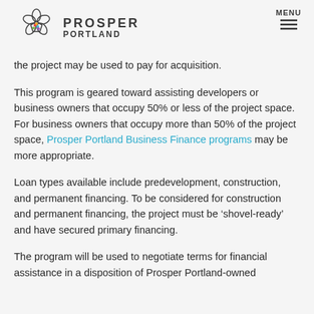PROSPER PORTLAND | MENU
requested funding. No more than 49% of the total TIF funds for the project may be used to pay for acquisition.
This program is geared toward assisting developers or business owners that occupy 50% or less of the project space. For business owners that occupy more than 50% of the project space, Prosper Portland Business Finance programs may be more appropriate.
Loan types available include predevelopment, construction, and permanent financing. To be considered for construction and permanent financing, the project must be ‘shovel-ready’ and have secured primary financing.
The program will be used to negotiate terms for financial assistance in a disposition of Prosper Portland-owned